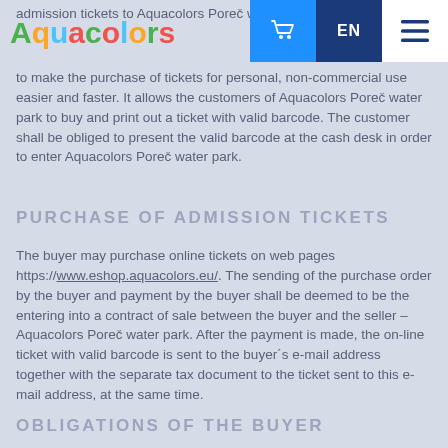Aquacolors [logo] | Cart | EN | Menu
admission tickets to Aquacolors Poreč water park to make the purchase of tickets for personal, non-commercial use easier and faster. It allows the customers of Aquacolors Poreč water park to buy and print out a ticket with valid barcode. The customer shall be obliged to present the valid barcode at the cash desk in order to enter Aquacolors Poreč water park.
PURCHASE OF ADMISSION TICKETS
The buyer may purchase online tickets on web pages https://www.eshop.aquacolors.eu/. The sending of the purchase order by the buyer and payment by the buyer shall be deemed to be the entering into a contract of sale between the buyer and the seller – Aquacolors Poreč water park. After the payment is made, the on-line ticket with valid barcode is sent to the buyer´s e-mail address together with the separate tax document to the ticket sent to this e-mail address, at the same time.
OBLIGATIONS OF THE BUYER